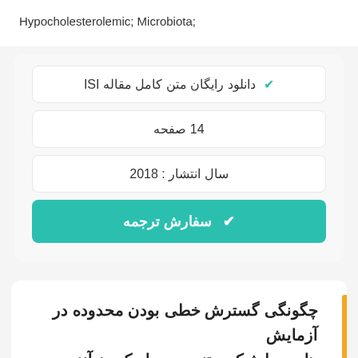Hypocholesterolemic; Microbiota;
✔ دانلود رایگان متن کامل مقاله ISI
14 صفحه
سال انتشار : 2018
✔ سفارش ترجمه
چگونگی گسترش خطی بودن محدوده در آزمایش های بیولوژیک مبتنی بر مهار کردن آنزیم